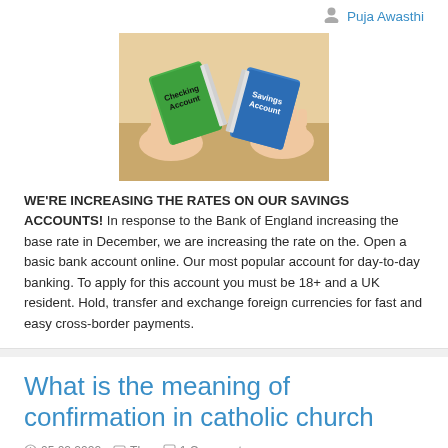Puja Awasthi
[Figure (illustration): Two hands holding bank account booklets — left hand holds a green 'Checking Account' booklet, right hand holds a blue 'Savings Account' booklet, against a wooden table background.]
WE'RE INCREASING THE RATES ON OUR SAVINGS ACCOUNTS! In response to the Bank of England increasing the base rate in December, we are increasing the rate on the. Open a basic bank account online. Our most popular account for day-to-day banking. To apply for this account you must be 18+ and a UK resident. Hold, transfer and exchange foreign currencies for fast and easy cross-border payments.
What is the meaning of confirmation in catholic church
05.02.2022   The   1 Comments